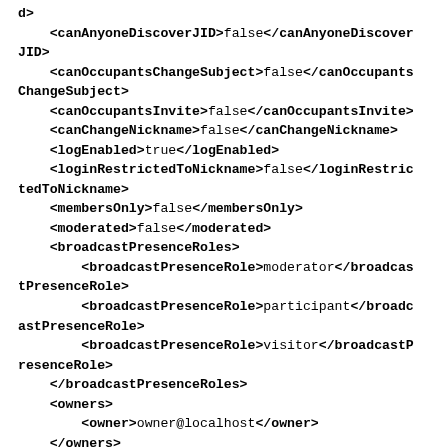d>
    <canAnyoneDiscoverJID>false</canAnyoneDiscoverJID>
    <canOccupantsChangeSubject>false</canOccupantsChangeSubject>
    <canOccupantsInvite>false</canOccupantsInvite>
    <canChangeNickname>false</canChangeNickname>
    <logEnabled>true</logEnabled>
    <loginRestrictedToNickname>false</loginRestrictedToNickname>
    <membersOnly>false</membersOnly>
    <moderated>false</moderated>
    <broadcastPresenceRoles>
        <broadcastPresenceRole>moderator</broadcastPresenceRole>
        <broadcastPresenceRole>participant</broadcastPresenceRole>
        <broadcastPresenceRole>visitor</broadcastPresenceRole>
    </broadcastPresenceRoles>
    <owners>
        <owner>owner@localhost</owner>
    </owners>
    <admins>
        <admin>admin@localhost</admin>
    </admins>
    <members>